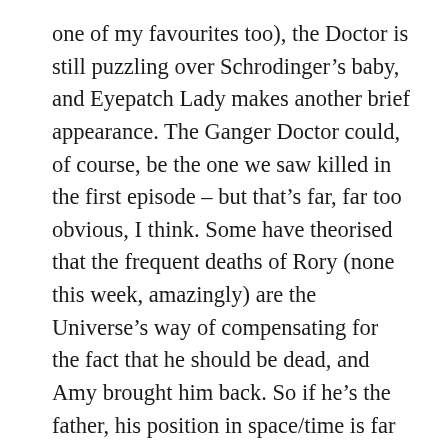one of my favourites too), the Doctor is still puzzling over Schrodinger's baby, and Eyepatch Lady makes another brief appearance. The Ganger Doctor could, of course, be the one we saw killed in the first episode – but that's far, far too obvious, I think. Some have theorised that the frequent deaths of Rory (none this week, amazingly) are the Universe's way of compensating for the fact that he should be dead, and Amy brought him back. So if he's the father, his position in space/time is far from secure, hence the 'positive/negative' pregnancy indecision. Incidentally, that medical scanner in the console seems a little convenient – it could have come in useful in any number of disease oriented stories, notably